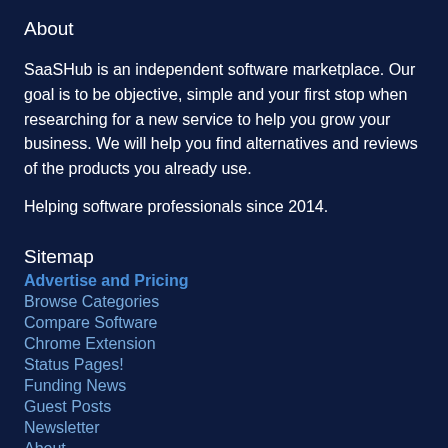About
SaaSHub is an independent software marketplace. Our goal is to be objective, simple and your first stop when researching for a new service to help you grow your business. We will help you find alternatives and reviews of the products you already use.
Helping software professionals since 2014.
Sitemap
Advertise and Pricing
Browse Categories
Compare Software
Chrome Extension
Status Pages!
Funding News
Guest Posts
Newsletter
About
API
Big Tech Alternatives